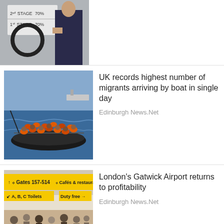[Figure (photo): Partial view of a person at a podium with stage markings visible]
[Figure (photo): Overcrowded migrant boat on the sea with a coast guard vessel in the background]
UK records highest number of migrants arriving by boat in single day
Edinburgh News.Net
[Figure (photo): Inside Gatwick Airport terminal with passengers and yellow directional signs]
London's Gatwick Airport returns to profitability
Edinburgh News.Net
[Figure (photo): Partial view of a judge's wig]
Trial lawyers in England, Wales